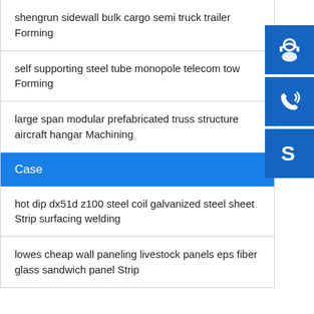shengrun sidewall bulk cargo semi truck trailer Forming
self supporting steel tube monopole telecom tow Forming
large span modular prefabricated truss structure aircraft hangar Machining
Case
hot dip dx51d z100 steel coil galvanized steel sheet Strip surfacing welding
lowes cheap wall paneling livestock panels eps fiber glass sandwich panel Strip